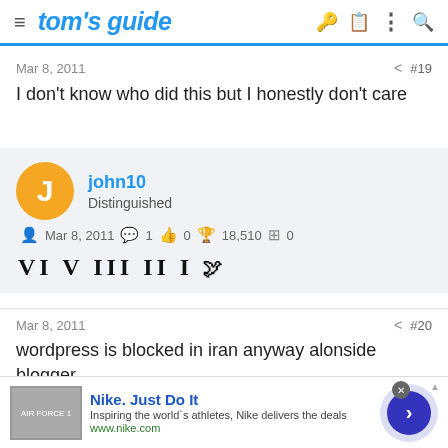tom's guide
Mar 8, 2011   #19
I don't know who did this but I honestly don't care
john10
Distinguished
Mar 8, 2011  1  0  18,510  0
Mar 8, 2011   #20
wordpress is blocked in iran anyway alonside blogger, flickryoutube google reader, google video search yahoo world new...
[Figure (screenshot): Nike advertisement banner with shoe image, 'Nike. Just Do It' headline, description text, www.nike.com URL, and a forward arrow button]